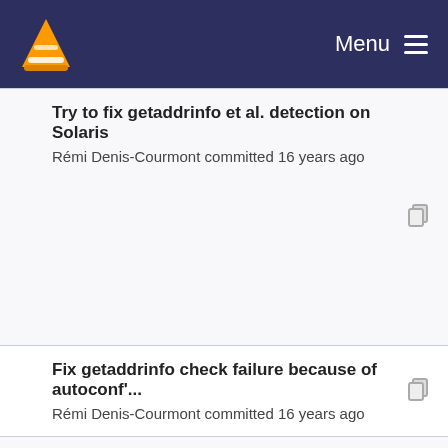VLC Menu
Try to fix getaddrinfo et al. detection on Solaris
Rémi Denis-Courmont committed 16 years ago
Fix getaddrinfo check failure because of autoconf'...
Rémi Denis-Courmont committed 16 years ago
- remove externrun directory
Rémi Denis-Courmont committed 17 years ago
Attempt to fix addrinfo detection on WinCE
Rémi Denis-Courmont committed 17 years ago
* configure.ac: fixed struct addrinfo detection on ...
gbazin committed 17 years ago